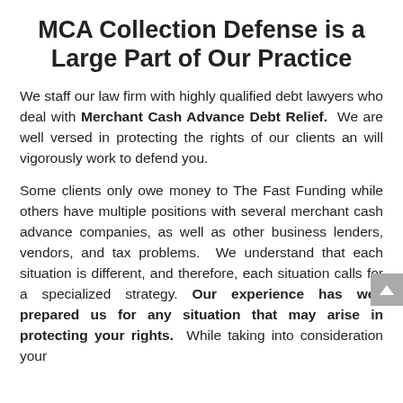MCA Collection Defense is a Large Part of Our Practice
We staff our law firm with highly qualified debt lawyers who deal with Merchant Cash Advance Debt Relief. We are well versed in protecting the rights of our clients an will vigorously work to defend you.
Some clients only owe money to The Fast Funding while others have multiple positions with several merchant cash advance companies, as well as other business lenders, vendors, and tax problems. We understand that each situation is different, and therefore, each situation calls for a specialized strategy. Our experience has well prepared us for any situation that may arise in protecting your rights. While taking into consideration your